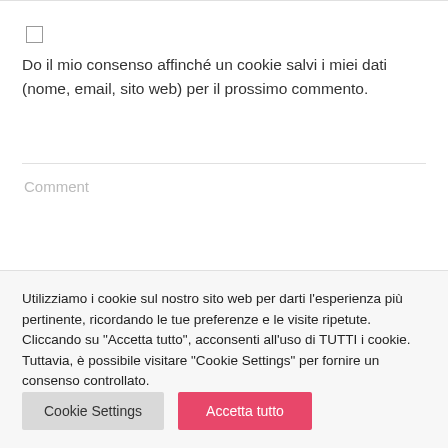Do il mio consenso affinché un cookie salvi i miei dati (nome, email, sito web) per il prossimo commento.
Comment
Utilizziamo i cookie sul nostro sito web per darti l'esperienza più pertinente, ricordando le tue preferenze e le visite ripetute. Cliccando su "Accetta tutto", acconsenti all'uso di TUTTI i cookie. Tuttavia, è possibile visitare "Cookie Settings" per fornire un consenso controllato.
Cookie Settings
Accetta tutto